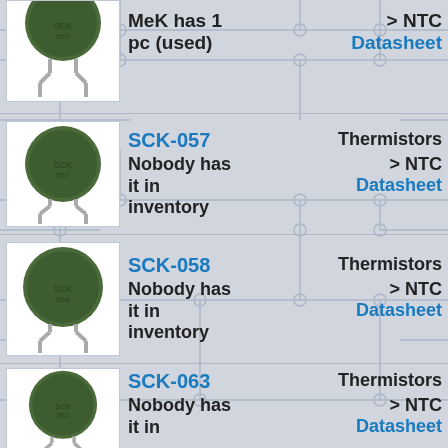[Figure (photo): Green NTC thermistor component (partial, top cut off) - first row]
MeK has 1 pc (used)
> NTC Datasheet
[Figure (photo): Green NTC thermistor component SCK-057]
SCK-057
Thermistors
Nobody has it in inventory
> NTC Datasheet
[Figure (photo): Green NTC thermistor component SCK-058]
SCK-058
Thermistors
Nobody has it in inventory
> NTC Datasheet
[Figure (photo): Green NTC thermistor component SCK-063]
SCK-063
Thermistors
Nobody has it in
> NTC Datasheet